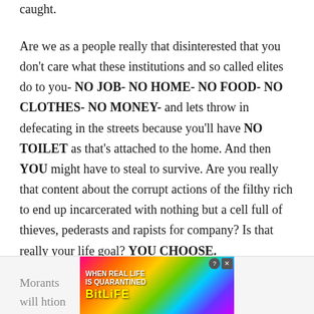caught.
Are we as a people really that disinterested that you don't care what these institutions and so called elites do to you- NO JOB- NO HOME- NO FOOD- NO CLOTHES- NO MONEY- and lets throw in defecating in the streets because you'll have NO TOILET as that's attached to the home. And then YOU might have to steal to survive. Are you really that content about the corrupt actions of the filthy rich to end up incarcerated with nothing but a cell full of thieves, pederasts and rapists for company? Is that really your life goal? YOU CHOOSE.
Mora... nts will h... tion